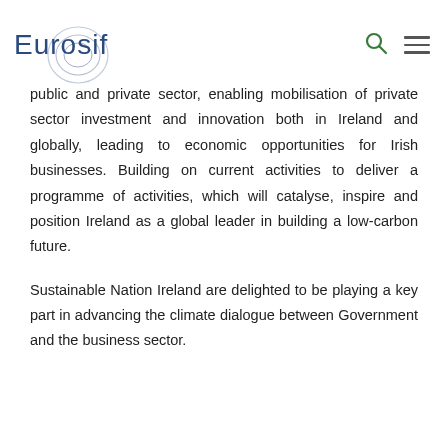Eurosif
public and private sector, enabling mobilisation of private sector investment and innovation both in Ireland and globally, leading to economic opportunities for Irish businesses. Building on current activities to deliver a programme of activities, which will catalyse, inspire and position Ireland as a global leader in building a low-carbon future.
Sustainable Nation Ireland are delighted to be playing a key part in advancing the climate dialogue between Government and the business sector.